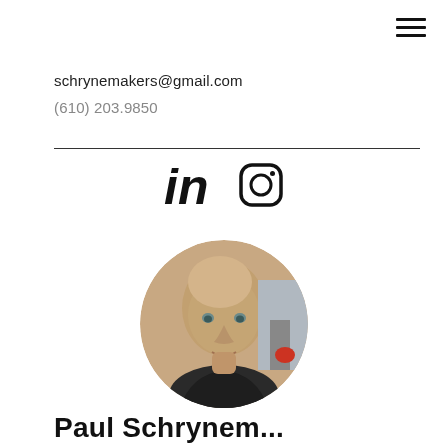[Figure (infographic): Hamburger menu icon (three horizontal lines) in top right corner]
schrynemakers@gmail.com
(610) 203.9850
[Figure (infographic): LinkedIn and Instagram social media icons, centered below a horizontal divider line]
[Figure (photo): Circular cropped headshot photo of a bald middle-aged man looking at camera]
Paul Schry...